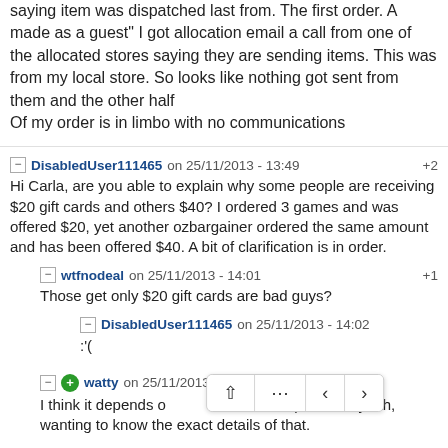saying item was dispatched last from. The first order. A made as a guest" I got allocation email a call from one of the allocated stores saying they are sending items. This was from my local store. So looks like nothing got sent from them and the other half Of my order is in limbo with no communications
DisabledUser111465 on 25/11/2013 - 13:49 +2
Hi Carla, are you able to explain why some people are receiving $20 gift cards and others $40? I ordered 3 games and was offered $20, yet another ozbargainer ordered the same amount and has been offered $40. A bit of clarification is in order.
wtfnodeal on 25/11/2013 - 14:01 +1
Those get only $20 gift cards are bad guys?
DisabledUser111465 on 25/11/2013 - 14:02
:'(
watty on 25/11/2013 - 14:02
I think it depends o... spent. But yeah, wanting to know the exact details of that.